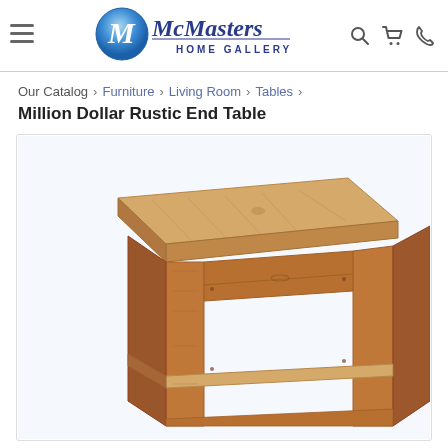McMasters HOME GALLERY
Our Catalog › Furniture › Living Room › Tables ›
Million Dollar Rustic End Table
[Figure (photo): Rustic wooden end table with a light pine top, two thick square legs visible, a lower shelf, and a small drawer. Light blue-white background. Product photo on McMasters Home Gallery website.]